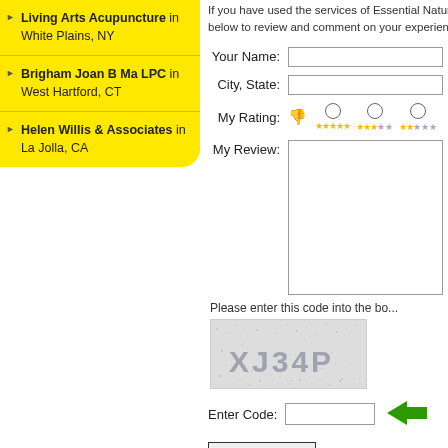Living Arts Acupuncture in White Plains, NY
Brigham Joan B Ma LPC in West Hartford, CT
Helen Willis & Associates in La Jolla, CA
If you have used the services of Essential Natur... below to review and comment on your experience...
Your Name: [input field]
City, State: [input field]
My Rating: [thumbs down icon] [radio 1-star] [radio 2-star] [radio 3-star...]
My Review: [textarea]
Please enter this code into the bo...
[Figure (other): CAPTCHA image showing text XJ34P on noisy background]
Enter Code: [input field] [enter arrow]
Post My Rev... [button]
Please note: all reviews are screened for spam...